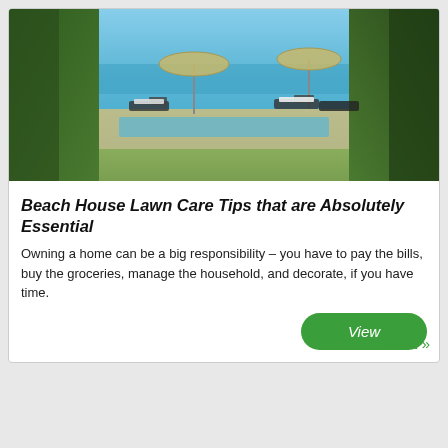[Figure (photo): Outdoor pool area at a beach house with lounge chairs, patio umbrellas, lush greenery, and ocean view in the background under a clear blue sky]
Beach House Lawn Care Tips that are Absolutely Essential
Owning a home can be a big responsibility – you have to pay the bills, buy the groceries, manage the household, and decorate, if you have time.
View
Next »